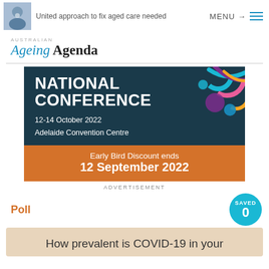United approach to fix aged care needed | MENU
[Figure (logo): Ageing Agenda logo with blue italic 'Ageing' and bold black 'Agenda']
[Figure (infographic): National Conference advertisement banner: dark teal background with colorful circular decorations. Text: NATIONAL CONFERENCE 12-14 October 2022 Adelaide Convention Centre. Orange strip: Early Bird Discount ends 12 September 2022]
ADVERTISEMENT
Poll
How prevalent is COVID-19 in your